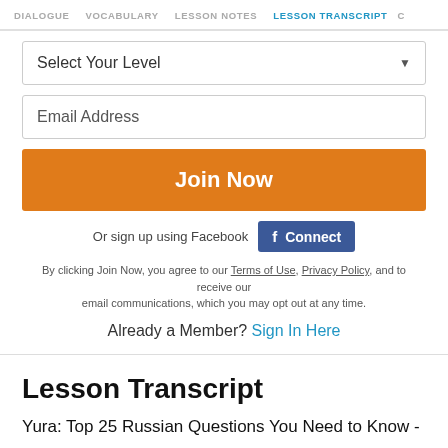DIALOGUE  VOCABULARY  LESSON NOTES  LESSON TRANSCRIPT  C
Select Your Level
Email Address
Join Now
Or sign up using Facebook  Connect
By clicking Join Now, you agree to our Terms of Use, Privacy Policy, and to receive our email communications, which you may opt out at any time.
Already a Member? Sign In Here
Lesson Transcript
Yura: Top 25 Russian Questions You Need to Know -